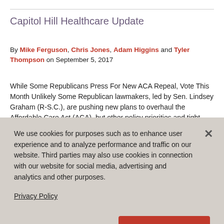Capitol Hill Healthcare Update
By Mike Ferguson, Chris Jones, Adam Higgins and Tyler Thompson on September 5, 2017
While Some Republicans Press For New ACA Repeal, Vote This Month Unlikely Some Republican lawmakers, led by Sen. Lindsey Graham (R-S.C.), are pushing new plans to overhaul the Affordable Care Act (ACA), but other policy priorities and tight legislative deadlines make a vote this month unlikely.
We use cookies for purposes such as to enhance user experience and to analyze performance and traffic on our website. Third parties may also use cookies in connection with our website for social media, advertising and analytics and other purposes.

Privacy Policy
Cookie Preferences
Accept and Continue